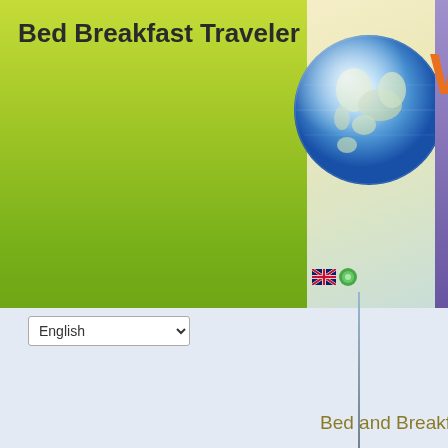Bed Breakfast Traveler
[Figure (illustration): Globe/earth illustration in blue and white tones, shown in the upper right of the header area]
[Figure (illustration): Orange letter W partially visible on far right edge, with purple vertical bar]
[Figure (illustration): Two small flag icons (UK flag and circular green icon) in the flags area]
English (language selector dropdown)
Bed and Breakfasts
Homepage
Work with us
Submit Bed & Breakfast
Booking engine
Channel manager
Feature your property on BedBreakfastTraveler…
It's absolutely free to join! Add your bed and breakfast to…
Add unlimited photos, use our booking engine on your we… and many more options are available for free to our mem…
Accept online reservations from your own website! In… price. You can even accept credit cards online (optional)…. breakfast, please contact Instant World Booking. We…